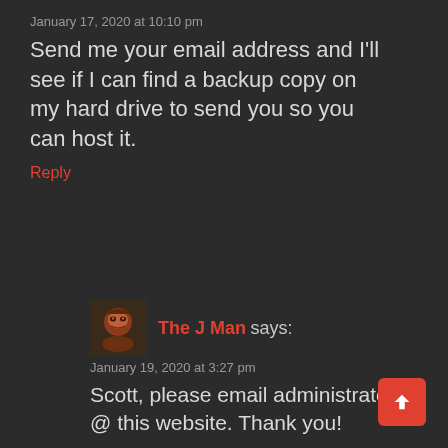January 17, 2020 at 10:10 pm
Send me your email address and I'll see if I can find a backup copy on my hard drive to send you so you can host it.
Reply
The J Man says:
January 19, 2020 at 3:27 pm
Scott, please email administrator @ this website. Thank you!
Reply